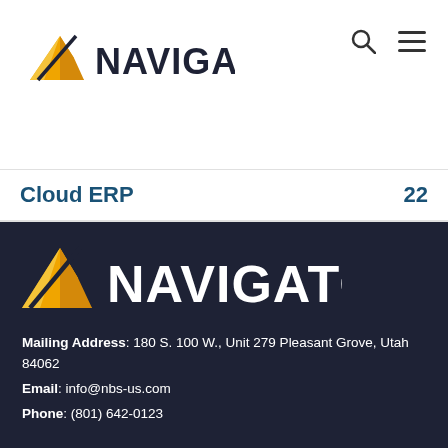[Figure (logo): Navigator logo with golden mountain/arrow icon and NAVIGATOR text in black, top left of white header bar]
Cloud ERP   22
[Figure (logo): Navigator logo with golden mountain/arrow icon and NAVIGATOR text in white, on dark navy footer background]
Mailing Address: 180 S. 100 W., Unit 279 Pleasant Grove, Utah 84062
Email: info@nbs-us.com
Phone: (801) 642-0123